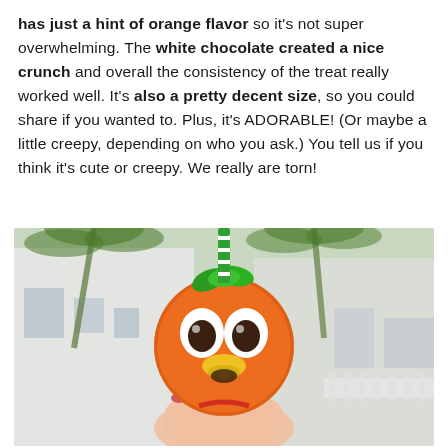has just a hint of orange flavor so it's not super overwhelming. The white chocolate created a nice crunch and overall the consistency of the treat really worked well. It's also a pretty decent size, so you could share if you wanted to. Plus, it's ADORABLE! (Or maybe a little creepy, depending on who you ask.) You tell us if you think it's cute or creepy. We really are torn!
[Figure (photo): A hand holding an orange-shaped treat decorated to look like the Orange Bird character, with candy eyes, a yellow beak, green leaf decorations on top, and a green and white striped straw. Background shows palm trees and a white building.]